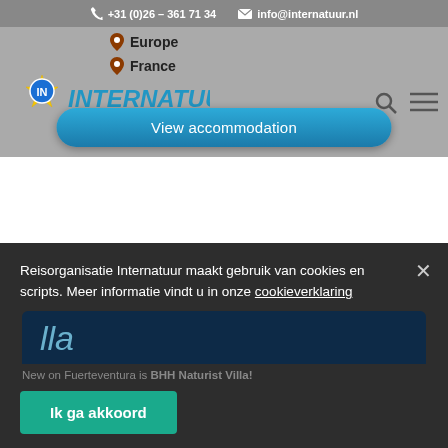+31 (0)26 – 361 71 34  info@internatuur.nl
Europe
France
[Figure (logo): Internatuur logo with yellow star burst and IN badge, blue INTERNATUUR text]
View accommodation
Reisorganisatie Internatuur maakt gebruik van cookies en scripts. Meer informatie vindt u in onze cookieverklaring
Ik ga akkoord
lla
New on Fuerteventura is BHH Naturist Villa!